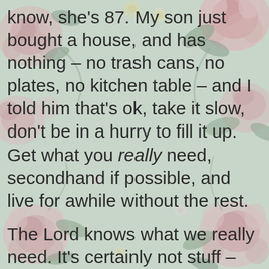[Figure (illustration): Floral pattern background with pink roses, green leaves, and cream/yellow flowers on a mint/sage green background]
know, she's 87.  My son just bought a house, and has nothing – no trash cans, no plates, no kitchen table – and I told him that's ok, take it slow, don't be in a hurry to fill it up.  Get what you really need, secondhand if possible, and live for awhile without the rest.

The Lord knows what we really need.  It's certainly not stuff – it's